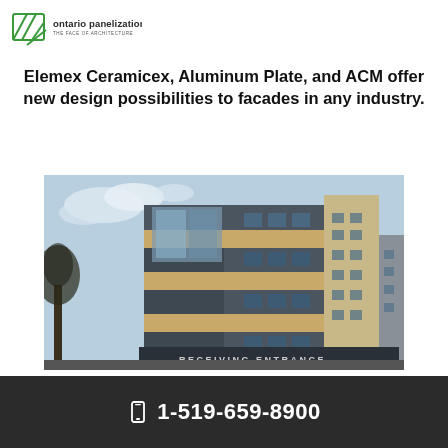[Figure (logo): Ontario Panelization logo — green stylized OP symbol with text 'ontario panelization THE FACE OF ARCHITECTURE']
Elemex Ceramicex, Aluminum Plate, and ACM offer new design possibilities to facades in any industry.
[Figure (photo): Photograph of a multi-story building facade with alternating dark grey and beige/tan horizontal panel strips, glass windows, and a sign reading 'RECEIVING ENTRANCE' at the bottom right.]
1-519-659-8900